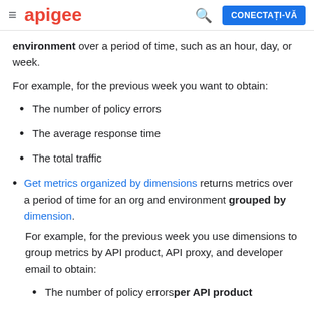apigee | CONECTAȚI-VĂ
environment over a period of time, such as an hour, day, or week.
For example, for the previous week you want to obtain:
The number of policy errors
The average response time
The total traffic
Get metrics organized by dimensions returns metrics over a period of time for an org and environment grouped by dimension.
For example, for the previous week you use dimensions to group metrics by API product, API proxy, and developer email to obtain:
The number of policy errors per API product